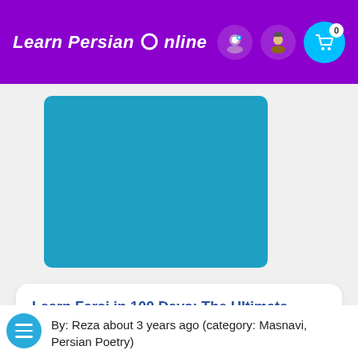Learn Persian Online
[Figure (illustration): Blue rectangle card representing a course thumbnail image]
Learn Farsi in 100 Days: The Ultimate Crash Course to Learning Farsi Fast
$49.99 $19.99
By: Reza about 3 years ago (category: Masnavi, Persian Poetry)